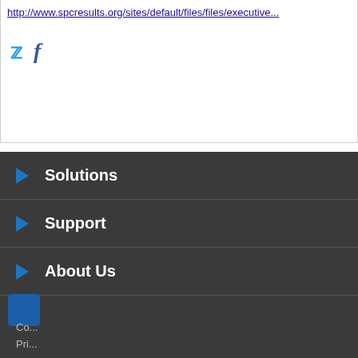http://www.spcresults.org/sites/default/files/files/executive...
[Figure (other): Twitter and Facebook social media icons in blue]
Solutions
Support
About Us
INSPUR use cookies to understand how you use our website, and improve your experience. See our Cookie Policy for more information.
ACCEPT
Co...
Pri...